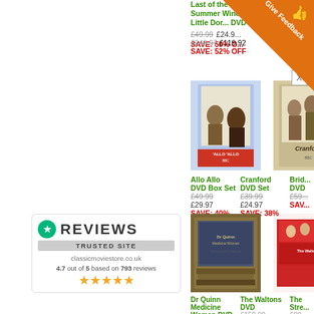[Figure (screenshot): E-commerce product listing page showing DVD box sets with prices and discounts. Includes an orange 'Give Feedback' ribbon in the top right corner.]
Last of the Summer Wine Little Dor... DVD £49.99 £24.9... SAVE: 50% O...
£249.97 £119.92 SAVE: 52% OFF
[Figure (photo): Allo Allo DVD Box Set product image]
Allo Allo DVD Box Set £49.99 £29.97 SAVE: 40% OFF
[Figure (photo): Cranford DVD Set product image]
Cranford DVD Set £39.99 £24.97 SAVE: 38% OFF
Brid... DVD £59... SAV...
[Figure (photo): Dr Quinn Medicine Woman DVD Set product image]
Dr Quinn Medicine Woman DVD Set £172.49 £54.97 SAVE: 68% OFF
[Figure (photo): The Waltons DVD product image]
The Waltons DVD £159.99 £59.52 SAVE: 63% OFF
The Stre... £99... SAV...
[Figure (photo): Heartbeat DVD product image (bottom, partially visible)]
[Figure (photo): Follyfoot DVD product image (bottom, partially visible)]
[Figure (logo): Reviews.io / Trusted Site badge showing 4.7 out of 5 based on 793 reviews with 5 gold stars and classicmoviestore.co.uk URL]